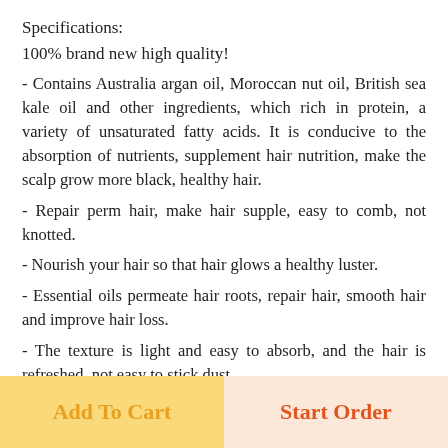Specifications:
100% brand new high quality!
- Contains Australia argan oil, Moroccan nut oil, British sea kale oil and other ingredients, which rich in protein, a variety of unsaturated fatty acids. It is conducive to the absorption of nutrients, supplement hair nutrition, make the scalp grow more black, healthy hair.
- Repair perm hair, make hair supple, easy to comb, not knotted.
- Nourish your hair so that hair glows a healthy luster.
- Essential oils permeate hair roots, repair hair, smooth hair and improve hair loss.
- The texture is light and easy to absorb, and the hair is refreshed, not easy to stick dust.
Package Included:
1x Morocco Essential Oil...